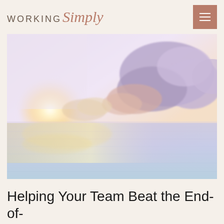WORKING Simply
[Figure (photo): A serene ocean/seascape photo at sunset or sunrise with soft pastel tones — lavender, pink, gold. Large dramatic clouds fill the upper right portion of the sky. The horizon is calm with still water reflecting golden light.]
Helping Your Team Beat the End-of-